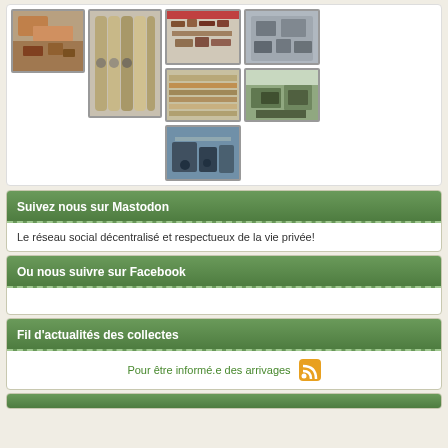[Figure (photo): Gallery of 7 workshop/storage photos showing various items including tools, rolls of material, metal parts, and machinery]
Suivez nous sur Mastodon
Le réseau social décentralisé et respectueux de la vie privée!
Ou nous suivre sur Facebook
Fil d'actualités des collectes
Pour être informé.e des arrivages